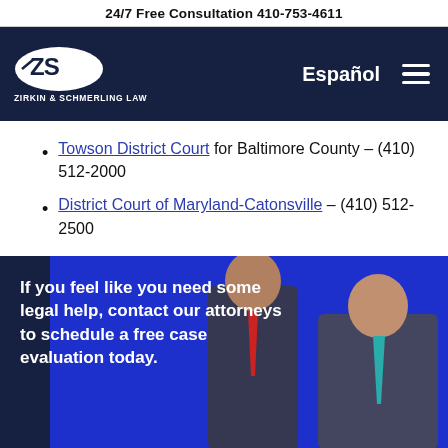24/7 Free Consultation 410-753-4611
[Figure (logo): Zirkin & Schmerling Law logo — white oval with ZS initials, text ZIRKIN & SCHMERLING LAW below, on dark navy background. Navigation includes Español link and hamburger menu.]
Towson District Court for Baltimore County – (410) 512-2000
District Court of Maryland-Catonsville – (410) 512-2500
[Figure (photo): CTA section with dark navy and blue background showing two men in suits (attorneys), overlaid with bold white text: 'If you feel like you need some legal help, contact our attorneys to schedule a free case evaluation today.']